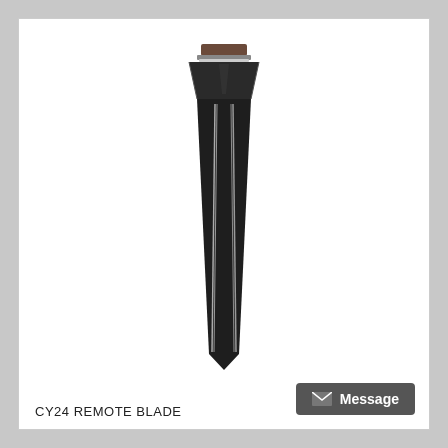[Figure (photo): A CY24 remote key blade — a dark metal flip key blade with a blunt rectangular top section and a long tapered pointed blade with two parallel grooves running lengthwise, shown against a white background.]
CY24 REMOTE BLADE